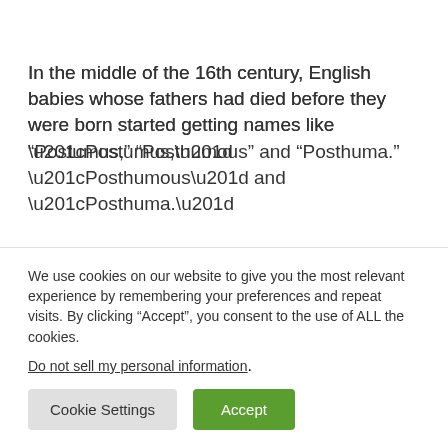In the middle of the 16th century, English babies whose fathers had died before they were born started getting names like “Postumus,” “Posthumous” and “Posthuma.”
The idea of styling a child by this name, thus
We use cookies on our website to give you the most relevant experience by remembering your preferences and repeat visits. By clicking “Accept”, you consent to the use of ALL the cookies.
Do not sell my personal information.